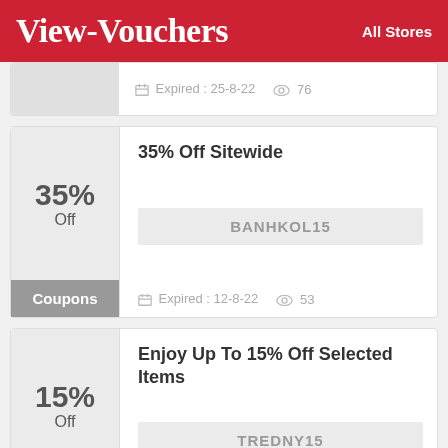View-Vouchers | All Stores
Expired: 25-8-22  76
35% Off Sitewide
BANHKOL15
Expired: 12-8-22  53
Enjoy Up To 15% Off Selected Items
TREDNY15
Expired: 12-8-22  97